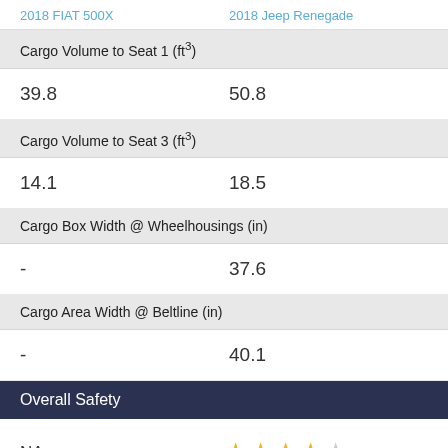2018 FIAT 500X    2018 Jeep Renegade
Cargo Volume to Seat 1 (ft³)
| 2018 FIAT 500X | 2018 Jeep Renegade |
| --- | --- |
| 39.8 | 50.8 |
Cargo Volume to Seat 3 (ft³)
| 2018 FIAT 500X | 2018 Jeep Renegade |
| --- | --- |
| 14.1 | 18.5 |
Cargo Box Width @ Wheelhousings (in)
| 2018 FIAT 500X | 2018 Jeep Renegade |
| --- | --- |
| - | 37.6 |
Cargo Area Width @ Beltline (in)
| 2018 FIAT 500X | 2018 Jeep Renegade |
| --- | --- |
| - | 40.1 |
Overall Safety
| 2018 FIAT 500X | 2018 Jeep Renegade |
| --- | --- |
| NA | ★★★★☆ |
Related Articles